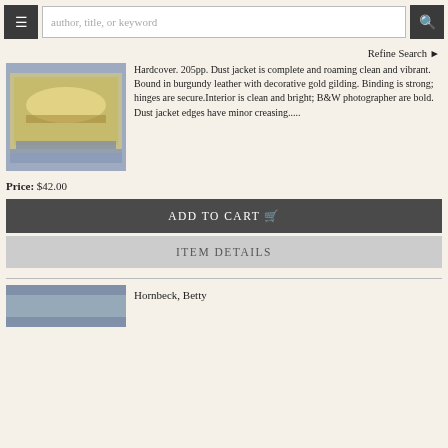author, title, or keyword
Refine Search
[Figure (photo): Book with illustrated dust jacket showing a boat/ship scene, placed on blue surface]
Hardcover. 205pp. Dust jacket is complete and roaming clean and vibrant. Bound in burgundy leather with decorative gold gilding. Binding is strong; hinges are secure.Interior is clean and bright; B&W photographer are bold. Dust jacket edges have minor creasing.....
Price: $42.00
ADD TO CART
ITEM DETAILS
Hornbeck, Betty